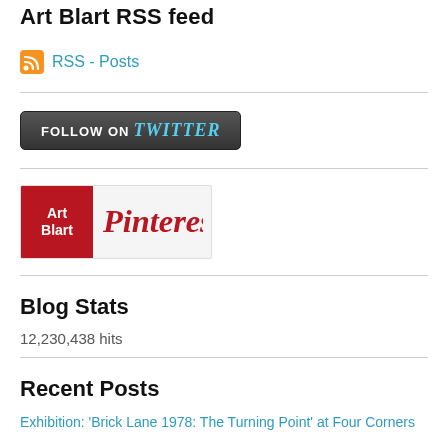Art Blart RSS feed
RSS - Posts
[Figure (logo): Follow on Twitter button with dark gradient background and cyan Twitter text]
[Figure (logo): Art Blart Pinterest logo badge with red square and Pinterest script wordmark]
Blog Stats
12,230,438 hits
Recent Posts
Exhibition: 'Brick Lane 1978: The Turning Point' at Four Corners